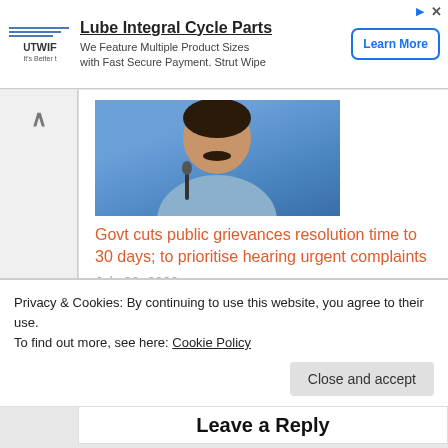[Figure (other): Advertisement banner: Strut Wipe logo on left, headline 'Lube Integral Cycle Parts', description 'We Feature Multiple Product Sizes with Fast Secure Payment. Strut Wipe', and 'Learn More' button on right]
[Figure (photo): Photo of a man with mustache in blue shirt, sitting at a microphone, blue background]
Govt cuts public grievances resolution time to 30 days; to prioritise hearing urgent complaints
July 30, 2022
Privacy & Cookies: By continuing to use this website, you agree to their use.
To find out more, see here: Cookie Policy
Close and accept
Leave a Reply